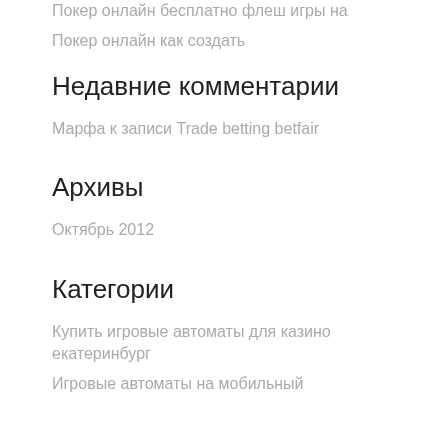Покер онлайн бесплатно флеш игры на
Покер онлайн как создать
Недавние комментарии
Марфа к записи Trade betting betfair
Архивы
Октябрь 2012
Категории
Купить игровые автоматы для казино екатеринбург
Игровые автоматы на мобильный